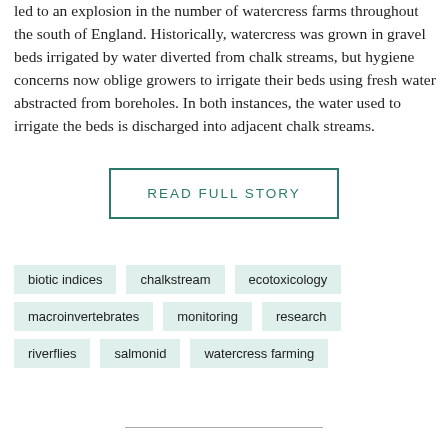led to an explosion in the number of watercress farms throughout the south of England. Historically, watercress was grown in gravel beds irrigated by water diverted from chalk streams, but hygiene concerns now oblige growers to irrigate their beds using fresh water abstracted from boreholes. In both instances, the water used to irrigate the beds is discharged into adjacent chalk streams.
READ FULL STORY
biotic indices
chalkstream
ecotoxicology
macroinvertebrates
monitoring
research
riverflies
salmonid
watercress farming